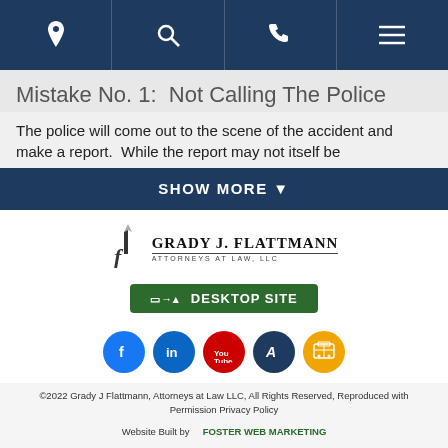[Figure (screenshot): Mobile website navigation bar with icons: location pin, search magnifier, phone handset, hamburger menu on dark navy background]
Mistake No. 1:  Not Calling The Police
The police will come out to the scene of the accident and make a report.  While the report may not itself be
SHOW MORE ▼
[Figure (logo): Grady J. Flattmann Attorneys at Law LLC logo with stylized F icon]
[Figure (screenshot): Green button: DESKTOP SITE with monitor/mobile icon]
[Figure (infographic): Social media icons row: Facebook, LinkedIn, YouTube, Avvo, Attorney listings icon]
©2022 Grady J Flattmann, Attorneys at Law LLC, All Rights Reserved, Reproduced with Permission Privacy Policy
Website Built by   FOSTER WEB MARKETING
Website Powered By   DYNAMIC SELF-SYNDICATION (DSS™)